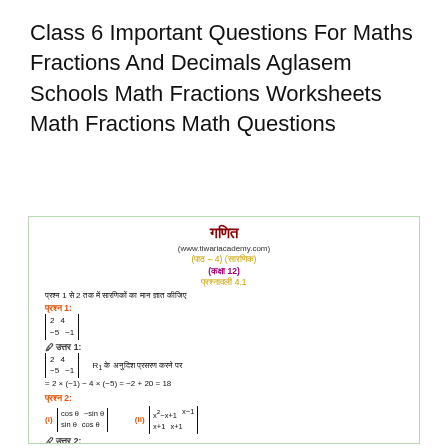Class 6 Important Questions For Maths Fractions And Decimals Aglasem Schools Math Fractions Worksheets Math Fractions Math Questions
[Figure (other): Educational math worksheet card in Hindi showing determinants problems (Ganit - गणित), with website www.tiwariacademy.com, Paath 4 (Sarnik), Kaksha 12, Abhyasvali 4.1. Contains Prashna 1 and Prashna 2 with determinant calculations in Hindi, including matrix determinant expansions and solutions.]